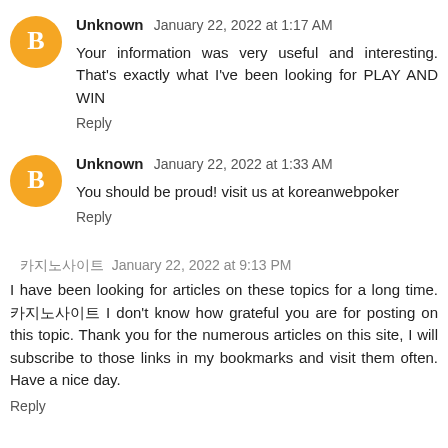Unknown  January 22, 2022 at 1:17 AM
Your information was very useful and interesting. That's exactly what I've been looking for PLAY AND WIN
Reply
Unknown  January 22, 2022 at 1:33 AM
You should be proud! visit us at koreanwebpoker
Reply
카지노사이트  January 22, 2022 at 9:13 PM
I have been looking for articles on these topics for a long time. 카지노사이트 I don't know how grateful you are for posting on this topic. Thank you for the numerous articles on this site, I will subscribe to those links in my bookmarks and visit them often. Have a nice day.
Reply